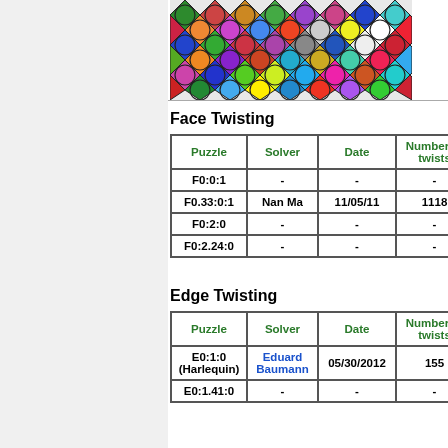[Figure (photo): Colorful stained-glass-style geometric pattern with diamonds and circles in many colors]
Face Twisting
| Puzzle | Solver | Date | Number of twists |
| --- | --- | --- | --- |
| F0:0:1 | - | - | - |
| F0.33:0:1 | Nan Ma | 11/05/11 | 1118 |
| F0:2:0 | - | - | - |
| F0:2.24:0 | - | - | - |
Edge Twisting
| Puzzle | Solver | Date | Number of twists |
| --- | --- | --- | --- |
| E0:1:0 (Harlequin) | Eduard Baumann | 05/30/2012 | 155 |
| E0:1.41:0 | - | - | - |